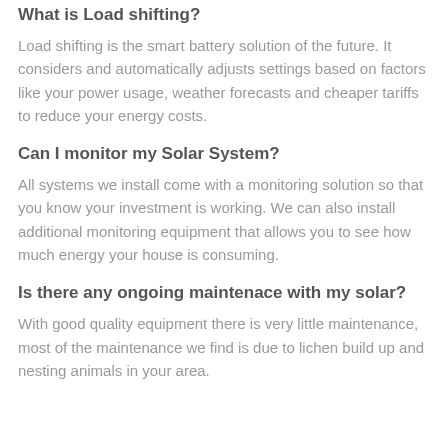What is Load shifting?
Load shifting is the smart battery solution of the future. It considers and automatically adjusts settings based on factors like your power usage, weather forecasts and cheaper tariffs to reduce your energy costs.
Can I monitor my Solar System?
All systems we install come with a monitoring solution so that you know your investment is working. We can also install additional monitoring equipment that allows you to see how much energy your house is consuming.
Is there any ongoing maintenace with my solar?
With good quality equipment there is very little maintenance, most of the maintenance we find is due to lichen build up and nesting animals in your area.